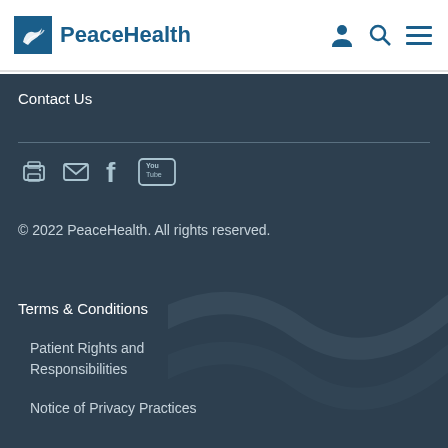PeaceHealth
Contact Us
[Figure (illustration): Social media icons: print, email, Facebook, YouTube]
© 2022 PeaceHealth. All rights reserved.
Terms & Conditions
Patient Rights and Responsibilities
Notice of Privacy Practices